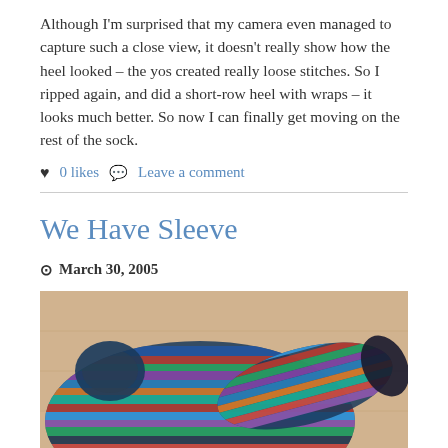Although I'm surprised that my camera even managed to capture such a close view, it doesn't really show how the heel looked – the yos created really loose stitches. So I ripped again, and did a short-row heel with wraps – it looks much better. So now I can finally get moving on the rest of the sock.
♥ 0 likes 💬 Leave a comment
We Have Sleeve
⊙ March 30, 2005
[Figure (photo): A colorful knitted sweater/cardigan with multicolored striped sleeves in blues, purples, reds, greens and oranges, laid flat on a light wooden floor.]